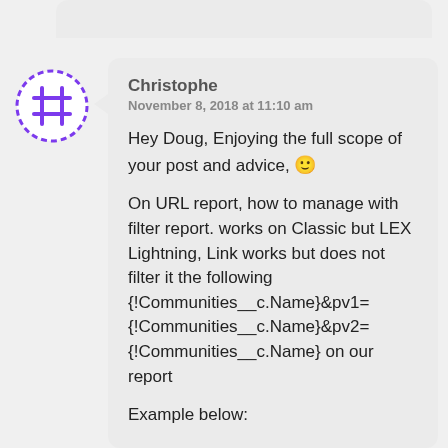[Figure (illustration): User avatar: circular icon with purple dotted border and grid/hashtag symbol in center]
Christophe
November 8, 2018 at 11:10 am

Hey Doug, Enjoying the full scope of your post and advice, 🙂

On URL report, how to manage with filter report. works on Classic but LEX Lightning, Link works but does not filter it the following {!Communities__c.Name}&pv1={!Communities__c.Name}&pv2={!Communities__c.Name} on our report

Example below: